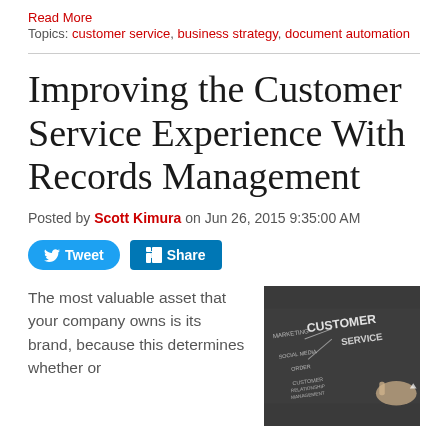Read More
Topics: customer service, business strategy, document automation
Improving the Customer Service Experience With Records Management
Posted by Scott Kimura on Jun 26, 2015 9:35:00 AM
[Figure (other): Tweet and LinkedIn Share social media buttons]
The most valuable asset that your company owns is its brand, because this determines whether or
[Figure (photo): A chalkboard with customer service diagram written in chalk showing words: MARKETING, CUSTOMER, SOCIAL MEDIA, ORDER, CUSTOMER RELATIONSHIP, MANAGEMENT, SERVICE]